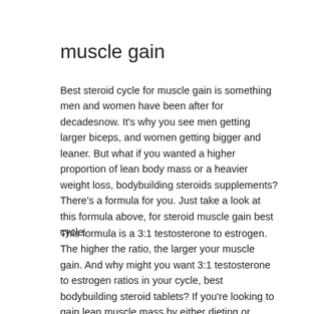muscle gain
Best steroid cycle for muscle gain is something men and women have been after for decadesnow. It's why you see men getting larger biceps, and women getting bigger and leaner. But what if you wanted a higher proportion of lean body mass or a heavier weight loss, bodybuilding steroids supplements? There's a formula for you. Just take a look at this formula above, for steroid muscle gain best cycle.
This formula is a 3:1 testosterone to estrogen. The higher the ratio, the larger your muscle gain. And why might you want 3:1 testosterone to estrogen ratios in your cycle, best bodybuilding steroid tablets? If you're looking to gain lean muscle mass by either dieting or gaining muscle, you need a